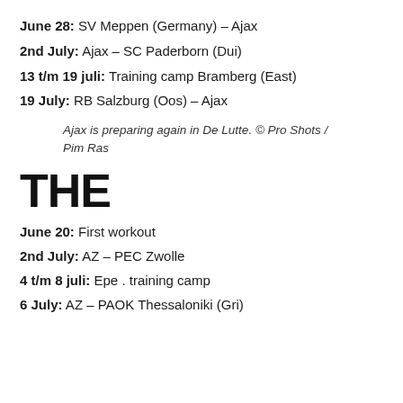June 28: SV Meppen (Germany) – Ajax
2nd July: Ajax – SC Paderborn (Dui)
13 t/m 19 juli: Training camp Bramberg (East)
19 July: RB Salzburg (Oos) – Ajax
Ajax is preparing again in De Lutte. © Pro Shots / Pim Ras
THE
June 20: First workout
2nd July: AZ – PEC Zwolle
4 t/m 8 juli: Epe . training camp
6 July: AZ – PAOK Thessaloniki (Gri)